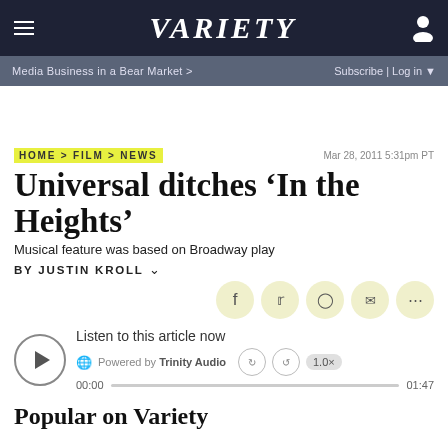VARIETY
Media Business in a Bear Market > | Subscribe | Log in
HOME > FILM > NEWS   Mar 28, 2011 5:31pm PT
Universal ditches ‘In the Heights’
Musical feature was based on Broadway play
By Justin Kroll
Listen to this article now
Powered by Trinity Audio
00:00  01:47
Popular on Variety